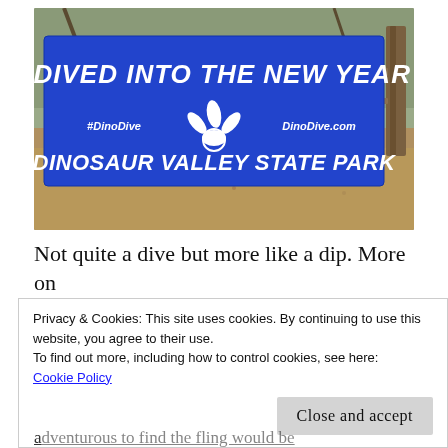[Figure (photo): A blue banner sign reading 'I DIVED INTO THE NEW YEAR' with '#DinoDive' on the left, a dinosaur footprint logo with 'AT' in the center, 'DinoDive.com' on the right, and 'DINOSAUR VALLEY STATE PARK' at the bottom. The sign is positioned outdoors in front of trees and dirt ground with a wooden fence post on the right.]
Not quite a dive but more like a dip. More on
Privacy & Cookies: This site uses cookies. By continuing to use this website, you agree to their use.
To find out more, including how to control cookies, see here:
Cookie Policy
Close and accept
adventurous to find the fling would be